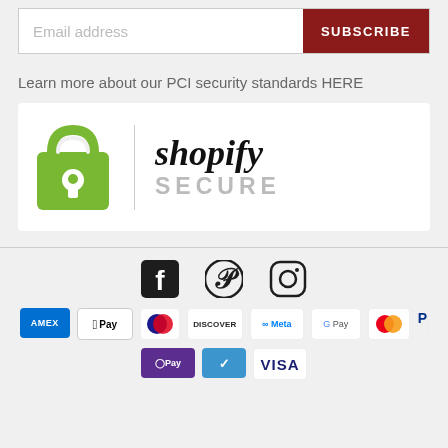Email address
SUBSCRIBE
Learn more about our PCI security standards HERE
[Figure (logo): Shopify Secure badge with green shopping bag icon with keyhole and text 'shopify SECURE']
[Figure (infographic): Social media icons: Facebook, Pinterest, Instagram]
[Figure (infographic): Payment method icons: AMEX, Apple Pay, Diners Club, Discover, Meta Pay, Google Pay, Mastercard, PayPal, OPay, Venmo, Visa]